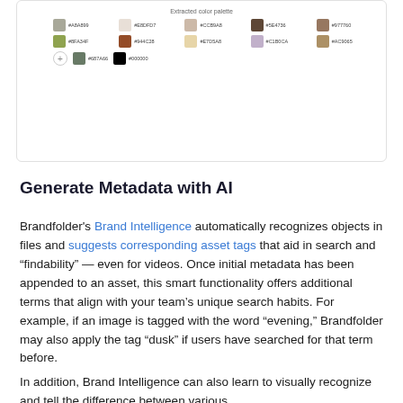[Figure (screenshot): Screenshot of a color palette extraction UI showing 'Extracted color palette' label with swatches: #A8A899, #E8DFD7, #CCB9A8, #5E4736, #977760, #8FA34F, #944C28, #E7D5A8, #C1B0CA, #AC9065, #687A66, #000000]
Generate Metadata with AI
Brandfolder's Brand Intelligence automatically recognizes objects in files and suggests corresponding asset tags that aid in search and “findability” — even for videos. Once initial metadata has been appended to an asset, this smart functionality offers additional terms that align with your team’s unique search habits. For example, if an image is tagged with the word “evening,” Brandfolder may also apply the tag “dusk” if users have searched for that term before.
In addition, Brand Intelligence can also learn to visually recognize and tell the difference between various